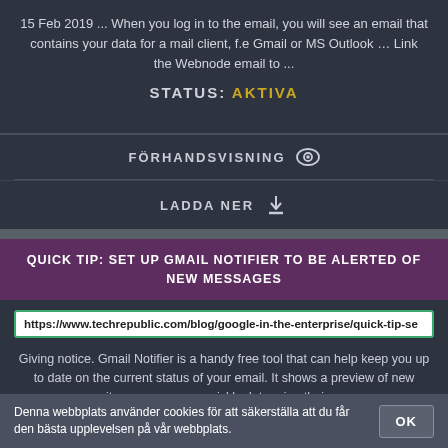15 Feb 2019 ... When you log in to the email, you will see an email that contains your data for a mail client, f.e Gmail or MS Outlook … Link the Webnode email to ...
STATUS: AKTIVA
FÖRHANDSVISNING
LADDA NER
QUICK TIP: SET UP GMAIL NOTIFIER TO BE ALERTED OF NEW MESSAGES
https://www.techrepublic.com/blog/google-in-the-enterprise/quick-tip-se
Giving notice. Gmail Notifier is a handy free tool that can help keep you up to date on the current status of your email. It shows a preview of new items so you can quickly determine their ...
Denna webbplats använder cookies för att säkerställa att du får den bästa upplevelsen på vår webbplats.